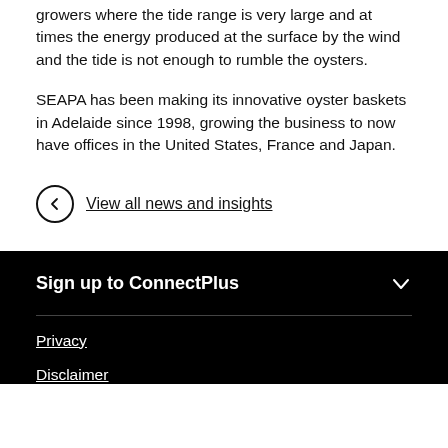growers where the tide range is very large and at times the energy produced at the surface by the wind and the tide is not enough to rumble the oysters.
SEAPA has been making its innovative oyster baskets in Adelaide since 1998, growing the business to now have offices in the United States, France and Japan.
View all news and insights
Sign up to ConnectPlus
Privacy
Disclaimer